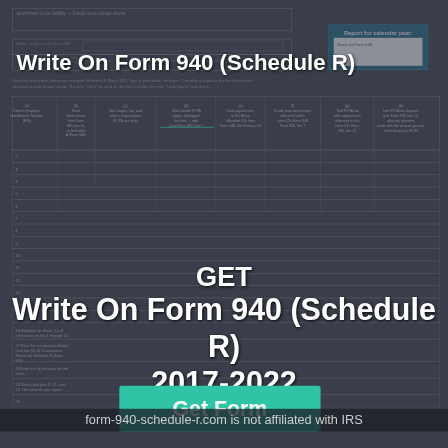Write On Form 940 (Schedule R)
GET
Write On Form 940 (Schedule R) 2017-2022
Get Form
form-940-schedule-r.com is not affiliated with IRS